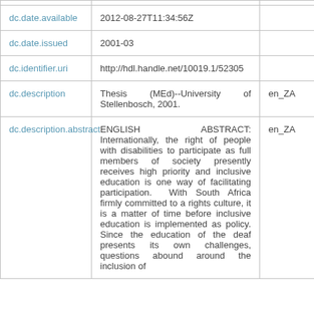| Field | Value | Lang |
| --- | --- | --- |
| dc.date.available | 2012-08-27T11:34:56Z |  |
| dc.date.issued | 2001-03 |  |
| dc.identifier.uri | http://hdl.handle.net/10019.1/52305 |  |
| dc.description | Thesis (MEd)--University of Stellenbosch, 2001. | en_ZA |
| dc.description.abstract | ENGLISH ABSTRACT: Internationally, the right of people with disabilities to participate as full members of society presently receives high priority and inclusive education is one way of facilitating participation. With South Africa firmly committed to a rights culture, it is a matter of time before inclusive education is implemented as policy. Since the education of the deaf presents its own challenges, questions abound around the inclusion of | en_ZA |